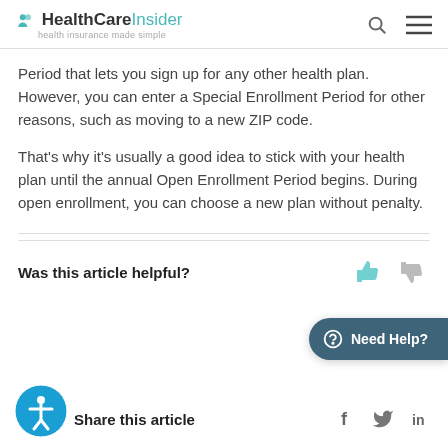HealthCareInsider — health insurance made simple
Period that lets you sign up for any other health plan. However, you can enter a Special Enrollment Period for other reasons, such as moving to a new ZIP code.
That's why it's usually a good idea to stick with your health plan until the annual Open Enrollment Period begins. During open enrollment, you can choose a new plan without penalty.
Was this article helpful?
[Figure (illustration): Thumbs up and thumbs down icons for article helpfulness rating]
[Figure (illustration): Need Help? button with phone icon, teal rounded rectangle]
[Figure (illustration): Accessibility icon — person in circle]
Share this article
[Figure (illustration): Social share icons: Facebook, Twitter, LinkedIn]